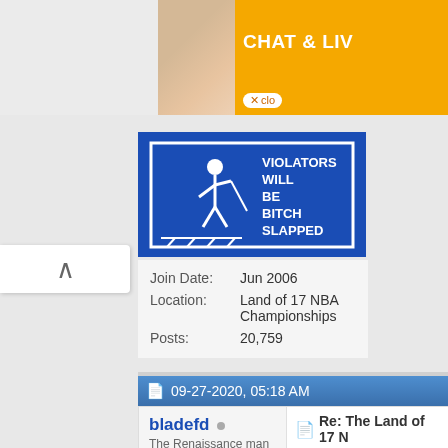[Figure (photo): Ad banner with woman at beach and orange CHAT & LIVE banner]
[Figure (illustration): Avatar image: blue sign reading VIOLATORS WILL BE BITCH SLAPPED with human figure]
Join Date:  Jun 2006
Location:  Land of 17 NBA Championships
Posts:  20,759
09-27-2020, 05:18 AM
bladefd
The Renaissance man
[Figure (illustration): Anime-style character avatar in grayscale]
Re: The Land of 17 N
Here we come!! I'm hoping to
More thoughts tomorrow. I'm